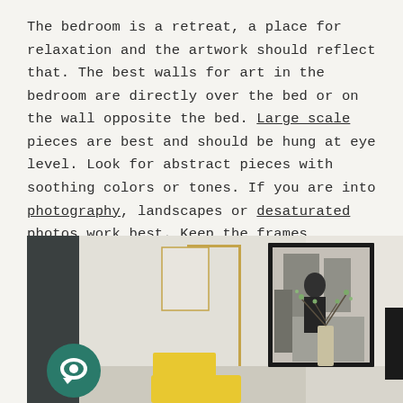The bedroom is a retreat, a place for relaxation and the artwork should reflect that. The best walls for art in the bedroom are directly over the bed or on the wall opposite the bed. Large scale pieces are best and should be hung at eye level. Look for abstract pieces with soothing colors or tones. If you are into photography, landscapes or desaturated photos work best. Keep the frames minimal--a gallery frame or canvases work great as well. Here, we want to focus on the art piece itself and not so much on its vessel.
[Figure (photo): Interior bedroom scene with a framed black and white photograph on the wall, a gold floor lamp, yellow chair, and a vase with branches. A teal chat bubble icon is visible in the lower left corner.]